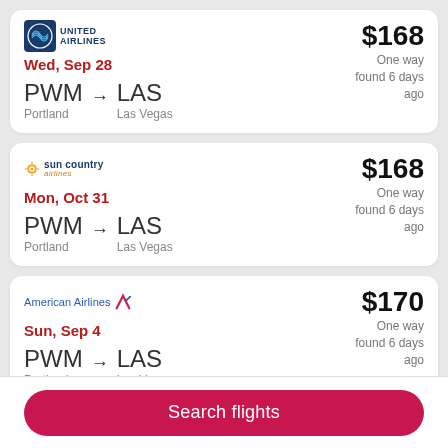[Figure (logo): United Airlines logo]
Wed, Sep 28
PWM Portland → LAS Las Vegas
$168 One way found 6 days ago
[Figure (logo): Sun Country Airlines logo]
Mon, Oct 31
PWM Portland → LAS Las Vegas
$168 One way found 6 days ago
[Figure (logo): American Airlines logo]
Sun, Sep 4
PWM Portland → LAS Las Vegas
$170 One way found 6 days ago
Search flights